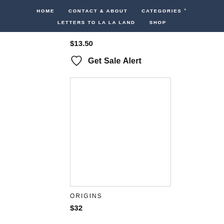HOME   CONTACT & ABOUT   CATEGORIES ˅   LETTERS TO LA LA LAND   SHOP
$13.50
♡  Get Sale Alert
[Figure (photo): Empty white product image placeholder with light grey border]
ORIGINS
$32